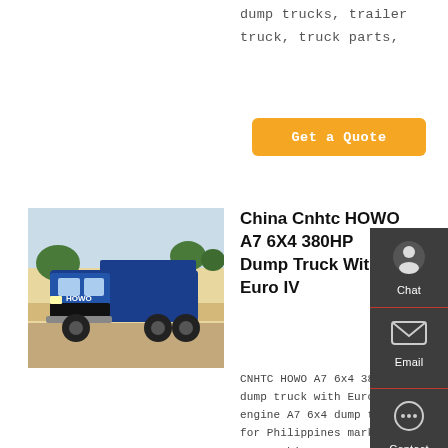dump trucks, trailer truck, truck parts,
Get a Quote
[Figure (photo): Blue HOWO dump truck parked outdoors in sandy/arid area with trees and wall in background]
China Cnhtc HOWO A7 6X4 380HP Dump Truck With Euro IV
CNHTC HOWO A7 6x4 380hp dump truck with Euro IV engine A7 6x4 dump truck for Philippines market A7-W cabin, D10.38-40 -380hp Euro IV engine HW19710
Chat
Email
Contact
Top